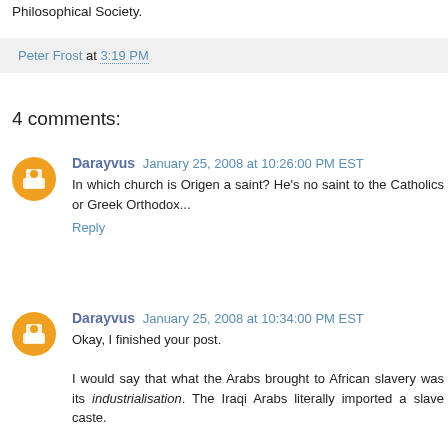Philosophical Society.
Peter Frost at 3:19 PM
4 comments:
Darayvus January 25, 2008 at 10:26:00 PM EST
In which church is Origen a saint? He's no saint to the Catholics or Greek Orthodox...
Reply
Darayvus January 25, 2008 at 10:34:00 PM EST
Okay, I finished your post.

I would say that what the Arabs brought to African slavery was its industrialisation. The Iraqi Arabs literally imported a slave caste.